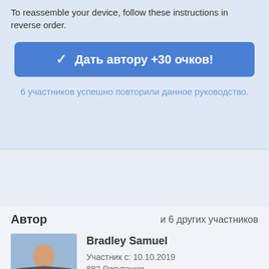To reassemble your device, follow these instructions in reverse order.
Дать автору +30 очков!
6 участников успешно повторили данное руководство.
Автор
и 6 других участников
[Figure (photo): Profile photo of Bradley Samuel, a person standing outdoors with arms outstretched]
Bradley Samuel
Участник с: 10.10.2019
882 Репутация
Автор 5 руководств